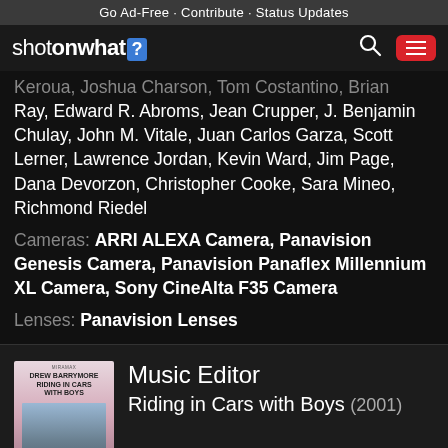Go Ad-Free · Contribute · Status Updates
[Figure (logo): shotonwhat? logo with blue question mark box, search icon, and red hamburger menu button]
Keroua, Joshua Charson, Tom Costantino, Brian Ray, Edward R. Abroms, Jean Crupper, J. Benjamin Chulay, John M. Vitale, Juan Carlos Garza, Scott Lerner, Lawrence Jordan, Kevin Ward, Jim Page, Dana Devorzon, Christopher Cooke, Sara Mineo, Richmond Riedel
Cameras: ARRI ALEXA Camera, Panavision Genesis Camera, Panavision Panaflex Millennium XL Camera, Sony CineAlta F35 Camera
Lenses: Panavision Lenses
[Figure (photo): Movie poster for Riding in Cars with Boys (2001)]
Music Editor
Riding in Cars with Boys (2001)